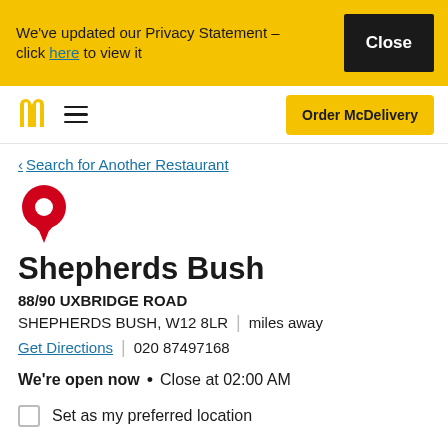We've updated our Privacy Statement – click here to view it
McDonald's navigation bar with M logo, menu icon, and Order McDelivery button
< Search for Another Restaurant
[Figure (illustration): Red map location pin icon]
Shepherds Bush
88/90 UXBRIDGE ROAD
SHEPHERDS BUSH, W12 8LR | miles away
Get Directions | 020 87497168
We're open now • Close at 02:00 AM
Set as my preferred location